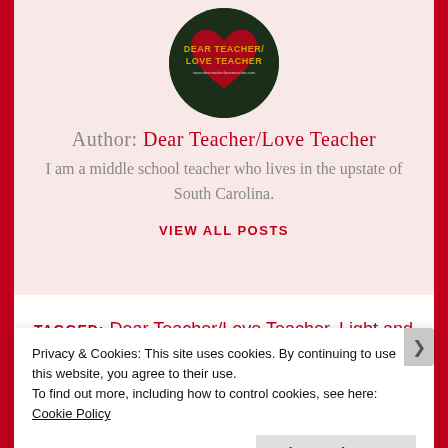[Figure (logo): Circular logo with dark green/red background reading DEAR TEACHER / LOVE TEACHER with a heart graphic]
Author: Dear Teacher/Love Teacher
I am a middle school teacher who lives in the upstate of South Carolina.
VIEW ALL POSTS
TAGGED: Dear Teacher/Love Teacher, Light and Shade, Teacher Graphic
Privacy & Cookies: This site uses cookies. By continuing to use this website, you agree to their use.
To find out more, including how to control cookies, see here: Cookie Policy
Close and accept